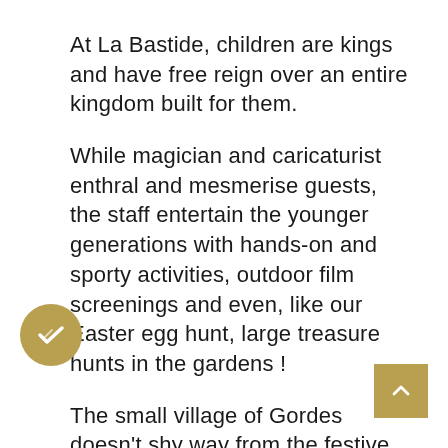At La Bastide, children are kings and have free reign over an entire kingdom built for them.
While magician and caricaturist enthral and mesmerise guests, the staff entertain the younger generations with hands-on and sporty activities, outdoor film screenings and even, like our Easter egg hunt, large treasure hunts in the gardens !
The small village of Gordes doesn't shy way from the festive mood: there are plenty of activities to choose from in the region and the concierge will be happy to